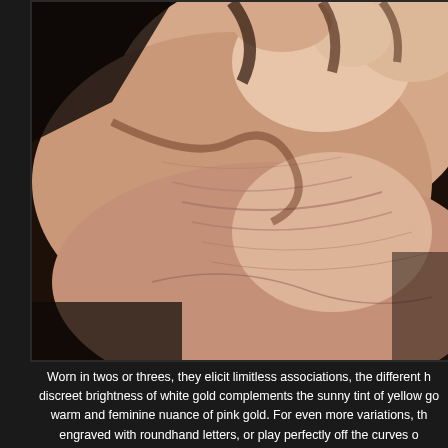[Figure (photo): Close-up photograph of muscular flexed arm/elbow showing skin texture and veins, with dark background]
Worn in twos or threes, they elicit limitless associations, the different h[ues complement each other:] discreet brightness of white gold complements the sunny tint of yellow go[ld as it does the] warm and feminine nuance of pink gold. For even more variations, th[ey can be] engraved with roundhand letters, or play perfectly off the curves o[f ...]